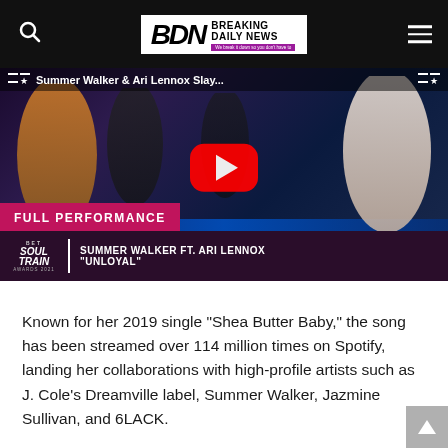Breaking Daily News
[Figure (screenshot): YouTube video thumbnail showing Summer Walker and Ari Lennox performing on stage at the BET Soul Train Awards 2021. Text overlay reads 'FULL PERFORMANCE' and 'Summer Walker ft. Ari Lennox - Unloyal'. Video title bar reads 'Summer Walker & Ari Lennox Slay...']
Known for her 2019 single “Shea Butter Baby,” the song has been streamed over 114 million times on Spotify, landing her collaborations with high-profile artists such as J. Cole’s Dreamville label, Summer Walker, Jazmine Sullivan, and 6LACK.